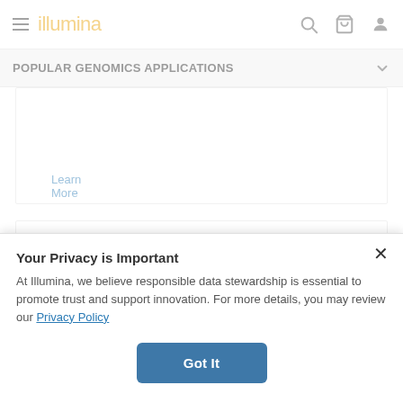illumina
POPULAR GENOMICS APPLICATIONS
Learn More
Your Privacy is Important
At Illumina, we believe responsible data stewardship is essential to promote trust and support innovation. For more details, you may review our Privacy Policy
Got It